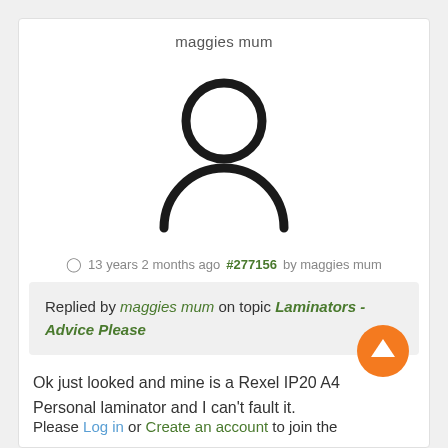maggies mum
[Figure (illustration): Default user avatar icon: a circle (head) above a half-circle (body/shoulders) in black outline style]
13 years 2 months ago #277156 by maggies mum
Replied by maggies mum on topic Laminators - Advice Please
Ok just looked and mine is a Rexel IP20 A4 Personal laminator and I can't fault it.
[Figure (other): Orange circular button with white upward arrow (scroll to top)]
Please Log in or Create an account to join the